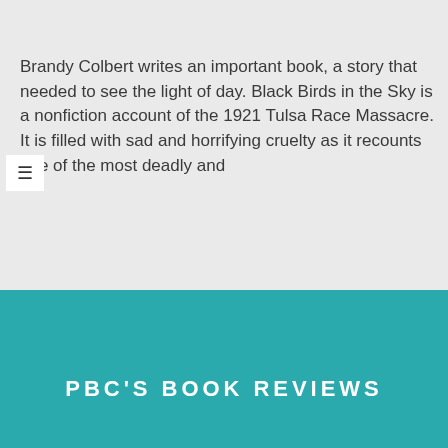Brandy Colbert writes an important book, a story that needed to see the light of day. Black Birds in the Sky is a nonfiction account of the 1921 Tulsa Race Massacre. It is filled with sad and horrifying cruelty as it recounts one of the most deadly and
PBC'S BOOK REVIEWS
over in classrooms and conversations because they make
READ MORE →